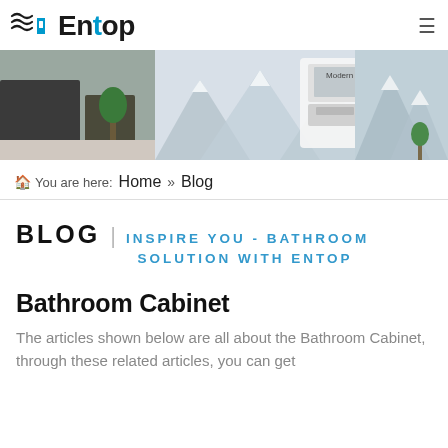Entop
[Figure (photo): Website banner showing a modern bathroom vanity product and mountain landscape imagery]
You are here: Home » Blog
BLOG | INSPIRE YOU - BATHROOM SOLUTION WITH ENTOP
Bathroom Cabinet
The articles shown below are all about the Bathroom Cabinet, through these related articles, you can get